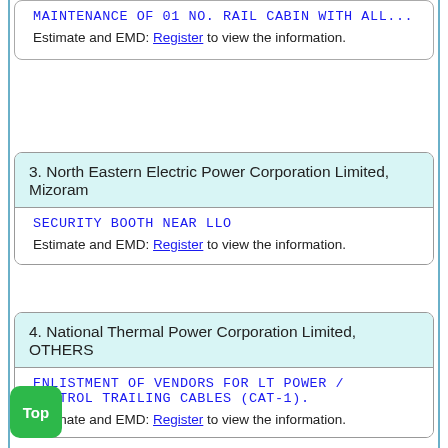MAINTENANCE OF 01 NO. RAIL CABIN WITH ALL… — Estimate and EMD: Register to view the information.
3. North Eastern Electric Power Corporation Limited, Mizoram
SECURITY BOOTH NEAR LLO — Estimate and EMD: Register to view the information.
4. National Thermal Power Corporation Limited, OTHERS
ENLISTMENT OF VENDORS FOR LT POWER / CONTROL TRAILING CABLES (CAT-1). — Estimate and EMD: Register to view the information.